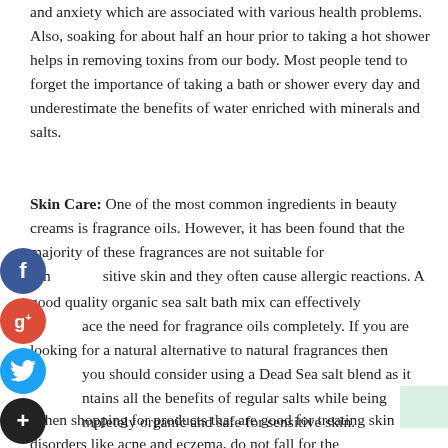and anxiety which are associated with various health problems. Also, soaking for about half an hour prior to taking a hot shower helps in removing toxins from our body. Most people tend to forget the importance of taking a bath or shower every day and underestimate the benefits of water enriched with minerals and salts.
Skin Care: One of the most common ingredients in beauty creams is fragrance oils. However, it has been found that the majority of these fragrances are not suitable for sensitive skin and they often cause allergic reactions. A good quality organic sea salt bath mix can effectively replace the need for fragrance oils completely. If you are looking for a natural alternative to natural fragrances then you should consider using a Dead Sea salt blend as it contains all the benefits of regular salts while being completely organic and safe for sensitive skin.
When shopping for products that are good for treating skin disorders like acne and eczema, do not fall for the